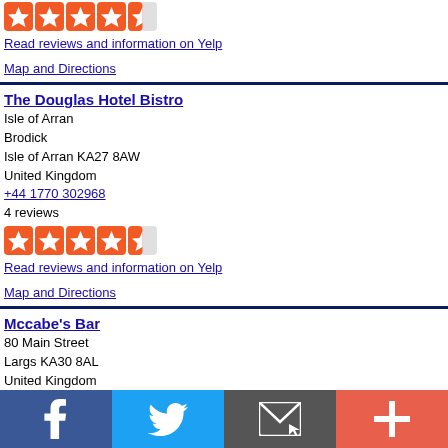[Figure (other): 4.5 star rating (5 orange stars, last half-filled)]
Read reviews and information on Yelp
Map and Directions
The Douglas Hotel Bistro
Isle of Arran
Brodick
Isle of Arran KA27 8AW
United Kingdom
+44 1770 302968
4 reviews
[Figure (other): 4.5 star rating (5 orange stars, last half-filled)]
Read reviews and information on Yelp
Map and Directions
Mccabe's Bar
80 Main Street
Largs KA30 8AL
United Kingdom
+44 1475 676089
1 review
[Figure (other): 5 star rating (5 full orange stars)]
Read reviews and information on Yelp
[Figure (infographic): Bottom navigation bar with Facebook, Twitter, Email, and Plus icons]